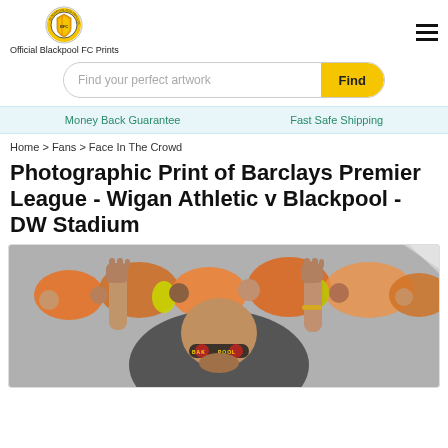Official Blackpool FC Prints
Find your perfect artwork
Money Back Guarantee  |  Fast Safe Shipping
Home > Fans > Face In The Crowd
Photographic Print of Barclays Premier League - Wigan Athletic v Blackpool - DW Stadium
[Figure (photo): Football fans celebrating in orange Blackpool FC colours at a match, crowd scene with raised fists, fan wearing BLACKPOOL glasses in foreground]